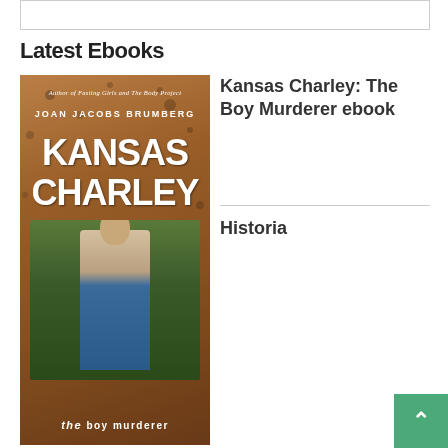Latest Ebooks
[Figure (photo): Book cover of 'Kansas Charley: The Boy Murderer' by Joan Jacobs Brumberg. Cover shows a vintage-style illustration of a young man in a blue jacket with large bold white text reading KANSAS CHARLEY. Subtitle reads 'the BOY MURDERER'. Author credit at top reads 'Author of Fasting Girls and The Body Project'.]
Kansas Charley: The Boy Murderer ebook
Historia